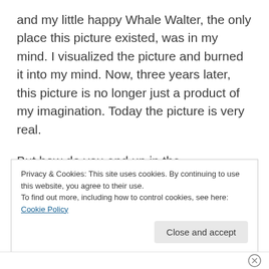and my little happy Whale Walter, the only place this picture existed, was in my mind. I visualized the picture and burned it into my mind. Now, three years later, this picture is no longer just a product of my imagination. Today the picture is very real.
But how do you end up in the flagshipstore of Illums Bolighus? The nr 1. interior design retailer i Denmark. Why was Illums Bolighus the main motivation? And now that Walter is launched in Illums Bolighus, then what is the next goal and motivation?
Privacy & Cookies: This site uses cookies. By continuing to use this website, you agree to their use.
To find out more, including how to control cookies, see here: Cookie Policy